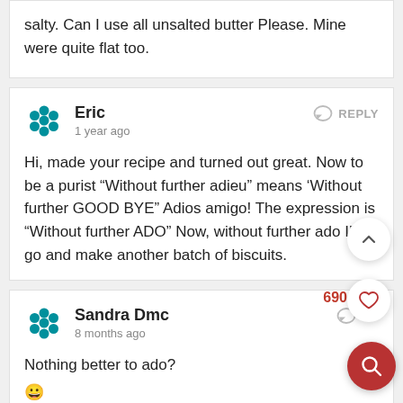salty. Can I use all unsalted butter Please. Mine were quite flat too.
Eric
1 year ago
Hi, made your recipe and turned out great. Now to be a purist “Without further adieu” means ‘Without further GOOD BYE” Adios amigo! The expression is “Without further ADO” Now, without further ado I’ll go and make another batch of biscuits.
Sandra Dmc
8 months ago
Nothing better to ado?